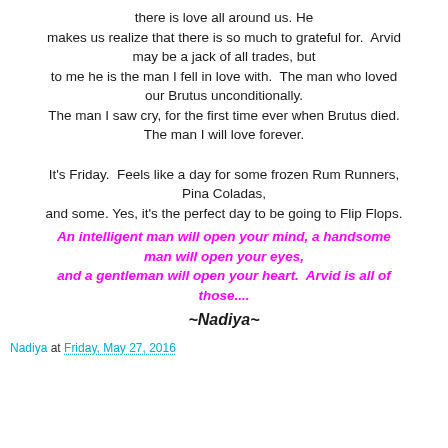there is love all around us. He makes us realize that there is so much to grateful for. Arvid may be a jack of all trades, but to me he is the man I fell in love with. The man who loved our Brutus unconditionally. The man I saw cry, for the first time ever when Brutus died. The man I will love forever.

It's Friday. Feels like a day for some frozen Rum Runners, Pina Coladas, and some. Yes, it's the perfect day to be going to Flip Flops.
An intelligent man will open your mind, a handsome man will open your eyes, and a gentleman will open your heart. Arvid is all of those....
~Nadiya~
Nadiya at Friday, May 27, 2016